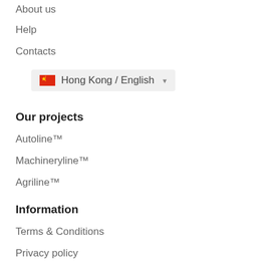About us
Help
Contacts
Hong Kong / English
Our projects
Autoline™
Machineryline™
Agriline™
Information
Terms & Conditions
Privacy policy
Safety tips